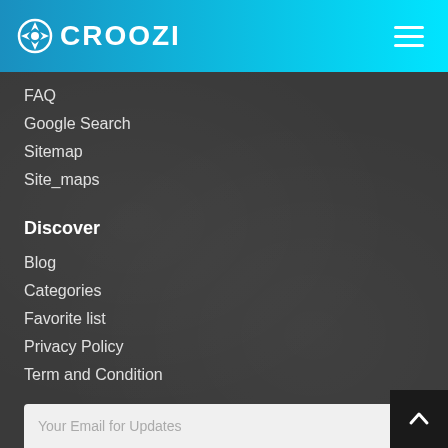CROOZI
FAQ
Google Search
Sitemap
Site_maps
Discover
Blog
Categories
Favorite list
Privacy Policy
Term and Condition
Newsletter
Join our newsletter to keep be informed about latest offers and news.
Your Email for Updates